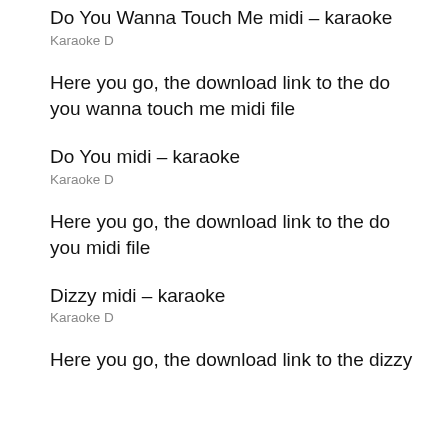Do You Wanna Touch Me midi – karaoke
Karaoke D
Here you go, the download link to the do you wanna touch me midi file
Do You midi – karaoke
Karaoke D
Here you go, the download link to the do you midi file
Dizzy midi – karaoke
Karaoke D
Here you go, the download link to the dizzy midi file